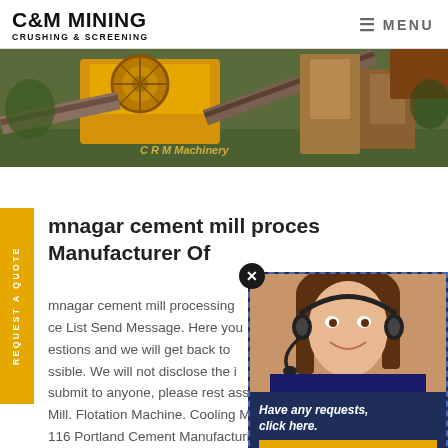C&M MINING CRUSHING & SCREENING | MENU
[Figure (photo): Industrial mining crushing and screening machinery, yellow and brown colored heavy equipment with conveyor belts, outdoors with trees in background. Watermark text: C R M Machinery]
mnagar cement mill process
Manufacturer Of
mnagar cement mill processing price List Send Message. Here you estions and we will get back to ssible. We will not disclose the i submit to anyone, please rest ass Mill. Flotation Machine. Cooling Mo 116 Portland Cement Manufacturin
[Figure (photo): Chat popup with female customer service agent wearing headset, smiling. Dark navy background with text: Have any requests, click here. Yellow Quotation button at bottom.]